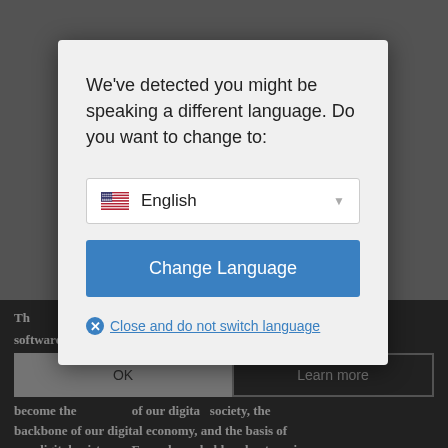[Figure (screenshot): A language-change modal dialog overlaying a darkened web page. The modal has a white/light gray background with text asking about language change, a dropdown showing 'English' with a US flag, a 'Change Language' blue button, and a 'Close and do not switch language' link. Behind the modal is a dark background with partial document text visible and OK/Learn more buttons.]
We've detected you might be speaking a different language. Do you want to change to:
English
Change Language
Close and do not switch language
The ... ce software (OS... evolutionized our world and become the ... of our digital society, the backbone of our digital economy, and the basis of our digital existence. Every household and enterprise